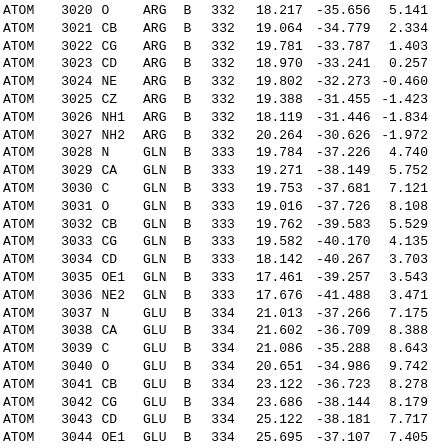| ATOM | 3020 | O | ARG | B | 332 | 18.217 | -35.656 | 5.141 |
| ATOM | 3021 | CB | ARG | B | 332 | 19.064 | -34.779 | 2.334 |
| ATOM | 3022 | CG | ARG | B | 332 | 19.781 | -33.787 | 1.403 |
| ATOM | 3023 | CD | ARG | B | 332 | 18.970 | -33.241 | 0.257 |
| ATOM | 3024 | NE | ARG | B | 332 | 19.802 | -32.273 | -0.460 |
| ATOM | 3025 | CZ | ARG | B | 332 | 19.388 | -31.455 | -1.423 |
| ATOM | 3026 | NH1 | ARG | B | 332 | 18.119 | -31.446 | -1.834 |
| ATOM | 3027 | NH2 | ARG | B | 332 | 20.264 | -30.626 | -1.972 |
| ATOM | 3028 | N | GLN | B | 333 | 19.784 | -37.226 | 4.740 |
| ATOM | 3029 | CA | GLN | B | 333 | 19.271 | -38.149 | 5.752 |
| ATOM | 3030 | C | GLN | B | 333 | 19.753 | -37.681 | 7.121 |
| ATOM | 3031 | O | GLN | B | 333 | 19.016 | -37.726 | 8.108 |
| ATOM | 3032 | CB | GLN | B | 333 | 19.762 | -39.583 | 5.529 |
| ATOM | 3033 | CG | GLN | B | 333 | 19.582 | -40.170 | 4.135 |
| ATOM | 3034 | CD | GLN | B | 333 | 18.142 | -40.267 | 3.703 |
| ATOM | 3035 | OE1 | GLN | B | 333 | 17.461 | -39.257 | 3.543 |
| ATOM | 3036 | NE2 | GLN | B | 333 | 17.676 | -41.488 | 3.471 |
| ATOM | 3037 | N | GLU | B | 334 | 21.013 | -37.266 | 7.175 |
| ATOM | 3038 | CA | GLU | B | 334 | 21.602 | -36.709 | 8.388 |
| ATOM | 3039 | C | GLU | B | 334 | 21.086 | -35.288 | 8.643 |
| ATOM | 3040 | O | GLU | B | 334 | 20.651 | -34.986 | 9.742 |
| ATOM | 3041 | CB | GLU | B | 334 | 23.122 | -36.723 | 8.278 |
| ATOM | 3042 | CG | GLU | B | 334 | 23.686 | -38.144 | 8.179 |
| ATOM | 3043 | CD | GLU | B | 334 | 25.122 | -38.181 | 7.717 |
| ATOM | 3044 | OE1 | GLU | B | 334 | 25.695 | -37.107 | 7.405 |
| ATOM | 3045 | OE2 | GLU | B | 334 | 25.680 | -39.296 | 7.670 |
| ATOM | 3046 | N | VAL | B | 335 | 21.131 | -34.436 | 7.620 |
| ATOM | 3047 | CA | VAL | B | 335 | 20.595 | -33.072 | 7.693 |
| ATOM | 3048 | C | VAL | B | 335 | 19.168 | -33.093 | 7.130 |
| ATOM | 3049 | O | VAL | B | 335 | 18.891 | -32.615 | 6.020 |